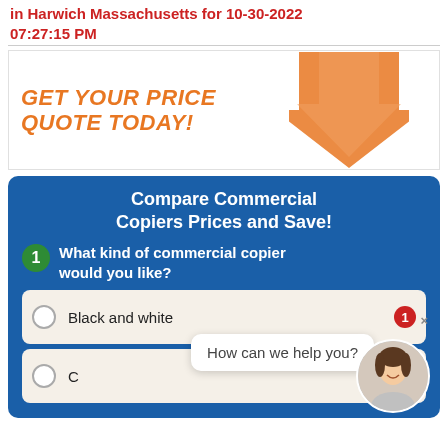in Harwich Massachusetts for 10-30-2022 07:27:15 PM
[Figure (infographic): Orange banner with large arrow pointing down and text 'GET YOUR PRICE QUOTE TODAY!']
[Figure (screenshot): Blue form box: 'Compare Commercial Copiers Prices and Save!' with step 1 question 'What kind of commercial copier would you like?' and options 'Black and white' and partially visible 'C...' option. A chat popup says 'How can we help you?' with a woman avatar.]